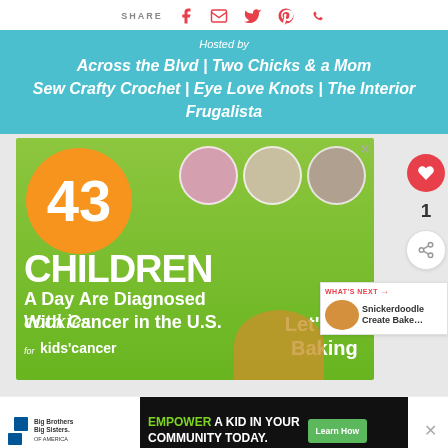SHARE [social icons: Facebook, Email, Twitter, Pinterest, WhatsApp]
Hosted by
Across the Blvd | Two Chicks & a Mom
Sew Crafty Crochet | Eye Love Knots | The Interior Frugalista
[Figure (infographic): Advertisement: green background with orange circle showing '43', text 'CHILDREN A Day Are Diagnosed With Cancer in the U.S.', cookies for kids cancer logo and 'Let's Go Baking' with child photos]
[Figure (infographic): What's Next panel: 'Snickerdoodle Create Bake...' with thumbnail image]
[Figure (infographic): Bottom advertisement: Big Brothers Big Sisters logo; 'EMPOWER A KID IN YOUR COMMUNITY TODAY.' with Learn How button]